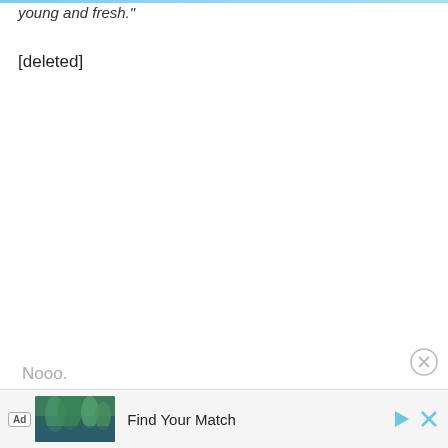young and fresh."
[deleted]
Nooo.
[Figure (screenshot): Advertisement bar at bottom with 'Ad' badge, landscape photo thumbnail, text 'Find Your Match', play button and close button icons]